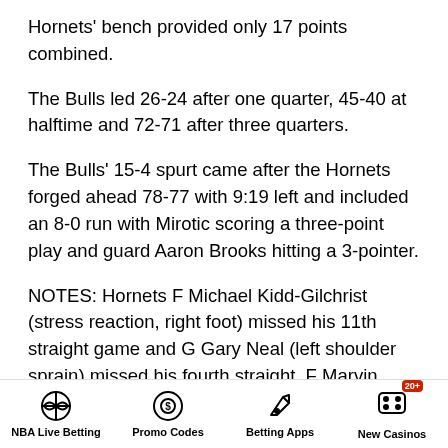Hornets' bench provided only 17 points combined.
The Bulls led 26-24 after one quarter, 45-40 at halftime and 72-71 after three quarters.
The Bulls' 15-4 spurt came after the Hornets forged ahead 78-77 with 9:19 left and included an 8-0 run with Mirotic scoring a three-point play and guard Aaron Brooks hitting a 3-pointer.
NOTES: Hornets F Michael Kidd-Gilchrist (stress reaction, right foot) missed his 11th straight game and G Gary Neal (left shoulder sprain) missed his fourth straight. F Marvin Williams (shoulder) returned after missing the previous two games. … The Bulls were without F Taj Gibson (left ankle) and F Doug McDermott (right knee).
NBA Live Betting | Promo Codes | Betting Apps | New Casinos 20+